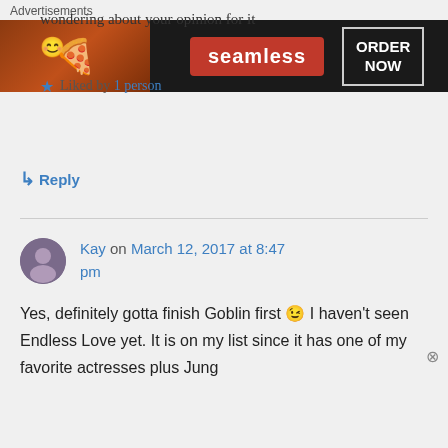wondering about your opinion for it 😊
Liked by 1 person
↳ Reply
Kay on March 12, 2017 at 8:47 pm
Yes, definitely gotta finish Goblin first 😉 I haven't seen Endless Love yet. It is on my list since it has one of my favorite actresses plus Jung
Advertisements
[Figure (screenshot): Seamless food delivery advertisement banner showing pizza and 'ORDER NOW' button]